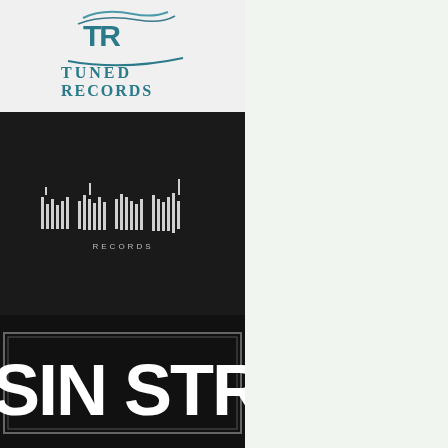[Figure (logo): Tuned Records logo with teal stylized letters TR and text 'TUNED RECORDS' below in teal serif font]
[Figure (logo): Bond Records logo on black background — letters 'bond' formed by vertical bar/equalizer graphics with 'RECORDS' text below]
[Figure (logo): Sin Street Records logo — black street sign style with white bold text 'SIN STRE' visible (cropped)]
^ back to top